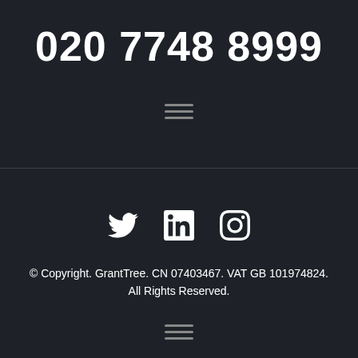020 7748 8999
[Figure (illustration): Hamburger menu icon (three horizontal lines)]
[Figure (illustration): Social media icons: Twitter bird, LinkedIn 'in' logo, Instagram camera logo]
© Copyright. GrantTree. CN 07403467. VAT GB 101974824. All Rights Reserved.
[Figure (illustration): Hamburger menu icon (three horizontal lines)]